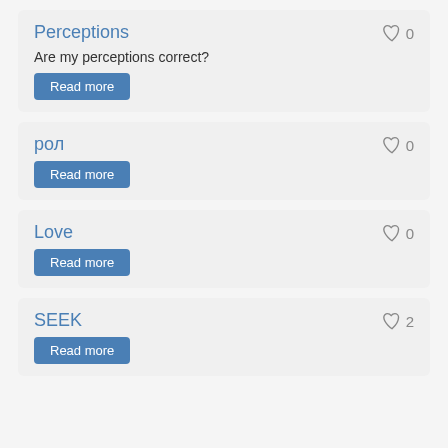Perceptions
Are my perceptions correct?
Read more
рол
Read more
Love
Read more
SEEK
Read more